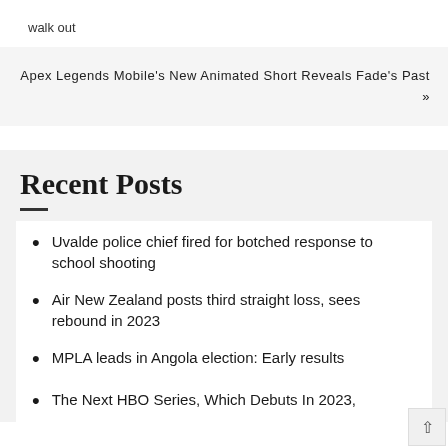walk out
Apex Legends Mobile's New Animated Short Reveals Fade's Past »
Recent Posts
Uvalde police chief fired for botched response to school shooting
Air New Zealand posts third straight loss, sees rebound in 2023
MPLA leads in Angola election: Early results
The Next HBO Series, Which Debuts In 2023,